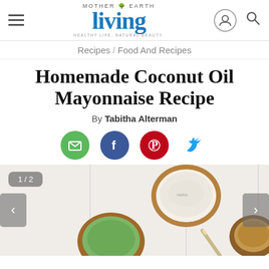Mother Earth Living — Hamburger menu, logo, user icon, search icon
Recipes / Food And Recipes
Homemade Coconut Oil Mayonnaise Recipe
By Tabitha Alterman
[Figure (infographic): Social share buttons: email (green), Facebook (blue), Pinterest (red), Twitter (light blue bird icon)]
[Figure (photo): Overhead photo of three wooden bowls containing various dips/spreads including mayonnaise, with a butter knife resting across one bowl, on a white wooden surface. Image carousel showing 1/2.]